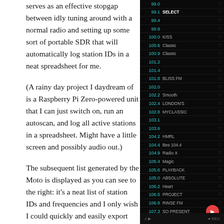serves as an effective stopgap between idly tuning around with a normal radio and setting up some sort of portable SDR that will automatically log station IDs in a neat spreadsheet for me.
(A rainy day project I daydream of is a Raspberry Pi Zero-powered unit that I can just switch on, run an autoscan, and log all active stations in a spreadsheet. Might have a little screen and possibly audio out.)
The subsequent list generated by the Moto is displayed as you can see to the right: it's a neat list of station IDs and frequencies and I only wish I could quickly and easily export this data into
[Figure (screenshot): Screenshot of a radio app on a dark background showing a list of FM frequencies and station names. Frequencies shown include 99.1 (SELECT), 99.4, 99.8, 100.0 (KISS), 100.6 (Classic), 100.9 (Classic), 101.2, 101.4, 101.8 (BLISS FM), 102.0, 102.2 (Smooth), 102.4 (LONDON'S), 102.8 (MYCLASSIC), 103.1, 103.6, 104.2 (HMRL), 104.4 (Bes 104.4), 104.9 (Radio X), 105.4 (Magic), 105.6 (PLAYBACK), 105.0 (ABSOLUTE), 106.2 (Heart), 106.5 (PROJECT), 106.8 (RINSE FM), 107.3 (SO PRESENT), 107.8 (-JACKIE-). A red FAB button appears at bottom right.]